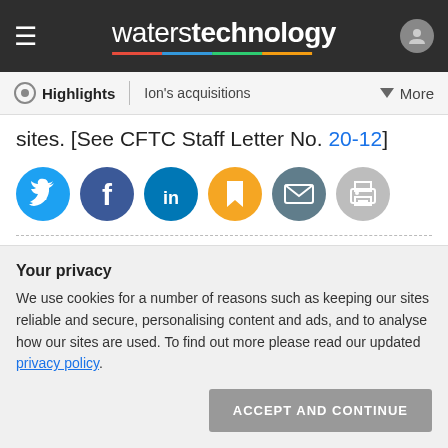waterstechnology
Highlights | Ion's acquisitions | More
sites. [See CFTC Staff Letter No. 20-12]
[Figure (other): Row of social sharing icons: Twitter, Facebook, LinkedIn, Bookmark, Email, Print]
Topics: Johannesburg Stock Exchange (JSE), Market data, Microwave, Nasdaq, NYSE, Russell, SIX Group, Trade processing, TruValue Labs, United Kingdom (UK)
Your privacy
We use cookies for a number of reasons such as keeping our sites reliable and secure, personalising content and ads, and to analyse how our sites are used. To find out more please read our updated privacy policy.
ACCEPT AND CONTINUE